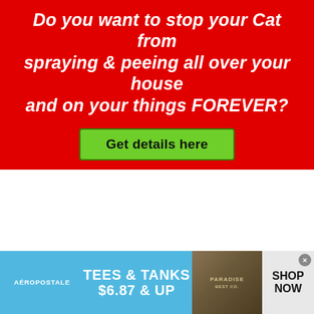[Figure (infographic): Red advertisement banner asking 'Do you want to stop your Cat from spraying & peeing all over your house and on your things FOREVER?' with a green 'Get details here' button]
Feeding (19)
[Figure (infographic): Aeropostale advertisement banner: TEES & TANKS $6.87 & UP with SHOP NOW button and a photo of a Paradise t-shirt]